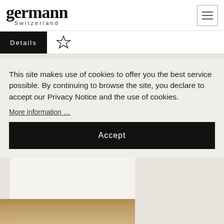[Figure (logo): Germann Switzerland logo — large serif wordmark 'germann' with 'Switzerland' in spaced sans-serif below]
[Figure (other): Hamburger menu button (three horizontal lines) in a rectangular border, top right]
Details
[Figure (other): Star/bookmark outline icon next to Details button]
[Figure (photo): Background section with light beige/cream color and faint product imagery]
This site makes use of cookies to offer you the best service possible. By continuing to browse the site, you declare to accept our Privacy Notice and the use of cookies.
More information …
Accept